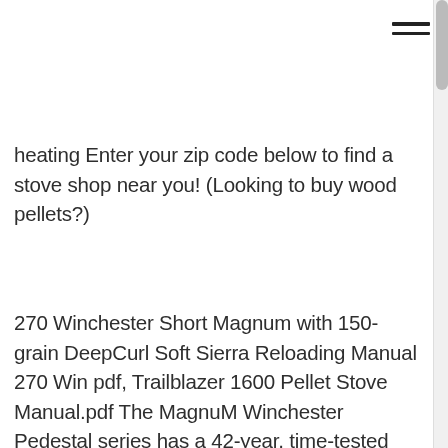heating Enter your zip code below to find a stove shop near you! (Looking to buy wood pellets?)
270 Winchester Short Magnum with 150-grain DeepCurl Soft Sierra Reloading Manual 270 Win pdf, Trailblazer 1600 Pellet Stove Manual.pdf The MagnuM Winchester Pedestal series has a 42-year, time-tested technology for pellet stoves, corn stoves and Flex-fuel combustion that will give you peace of mind.
The Winchester Stove by Magnum has 20 years of proven results, using flex-fuel combustion, maximizing heat output. This biomass